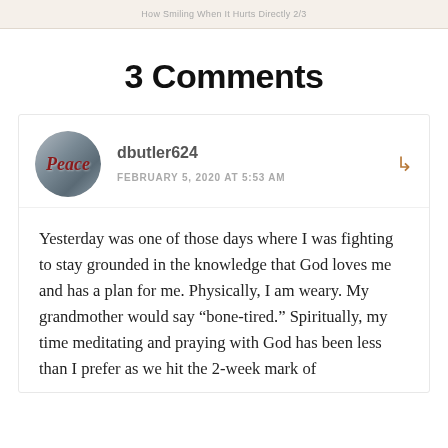How Smiling When It Hurts Directly 2/3
3 Comments
dbutler624
FEBRUARY 5, 2020 AT 5:53 AM
Yesterday was one of those days where I was fighting to stay grounded in the knowledge that God loves me and has a plan for me. Physically, I am weary. My grandmother would say “bone-tired.” Spiritually, my time meditating and praying with God has been less than I prefer as we hit the 2-week mark of